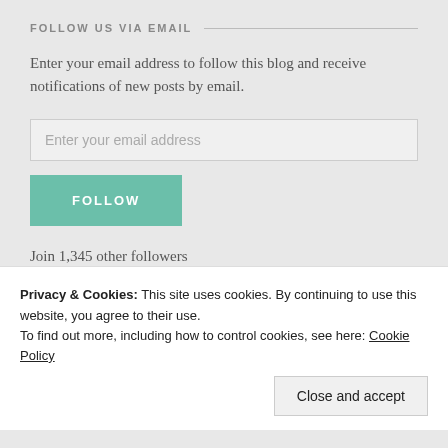FOLLOW US VIA EMAIL
Enter your email address to follow this blog and receive notifications of new posts by email.
Enter your email address
FOLLOW
Join 1,345 other followers
MORE FROM US
Privacy & Cookies: This site uses cookies. By continuing to use this website, you agree to their use.
To find out more, including how to control cookies, see here: Cookie Policy
Close and accept